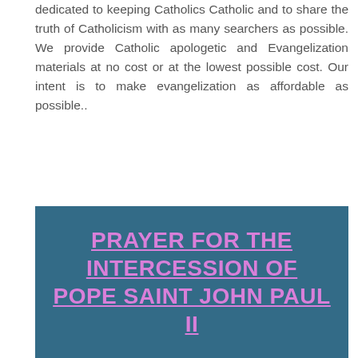dedicated to keeping Catholics Catholic and to share the truth of Catholicism with as many searchers as possible. We provide Catholic apologetic and Evangelization materials at no cost or at the lowest possible cost. Our intent is to make evangelization as affordable as possible..
PRAYER FOR THE INTERCESSION OF POPE SAINT JOHN PAUL II